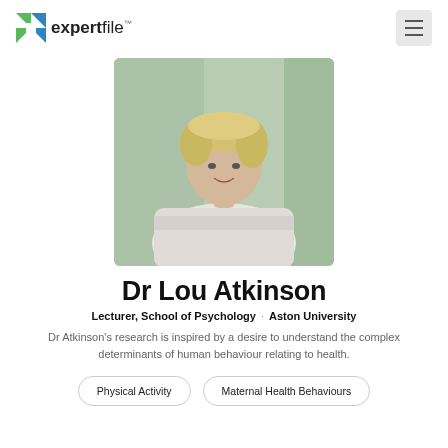expertfile
[Figure (photo): Portrait photo of Dr Lou Atkinson, a woman with short blonde curly hair wearing a light grey/white patterned top, standing in front of a blurred green/glass background.]
Dr Lou Atkinson
Lecturer, School of Psychology · Aston University
Dr Atkinson's research is inspired by a desire to understand the complex determinants of human behaviour relating to health.
Physical Activity
Maternal Health Behaviours